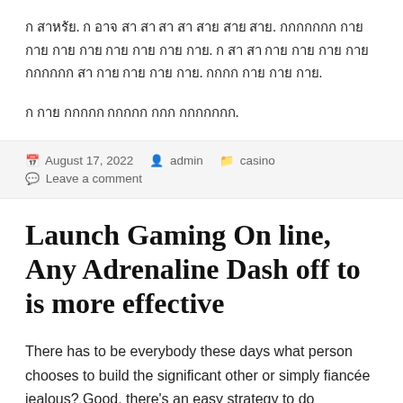ก สาหรัย. ก อาจ สา สา สา สา สาย สาย สาย. กกกกกกก กาย กาย กาย กาย กาย กาย กาย กาย. ก สา สา กาย กาย กาย กาย กกกกกก สา กาย กาย กาย กาย. กกกก กาย กาย กาย.
ก กาย กกกกก กกกกก กกก กกกกกกก.
August 17, 2022  admin  casino  Leave a comment
Launch Gaming On line, Any Adrenaline Dash off to is more effective
There has to be everybody these days what person chooses to build the significant other or simply fiancée jealous? Good, there's an easy strategy to do